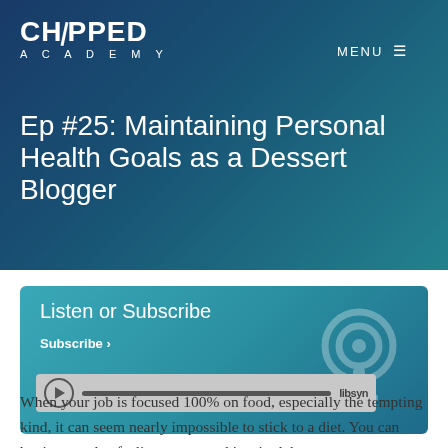CHOPPED ACADEMY | MENU
Ep #25: Maintaining Personal Health Goals as a Dessert Blogger
Listen or Subscribe
Subscribe ›
[Figure (screenshot): Libsyn audio player bar with play button and progress track]
When your job is focused 100% on food, especially the tempting kind, it can seem nearly impossible to stick to a diet. You can begin your day feeling strong and inspired, but